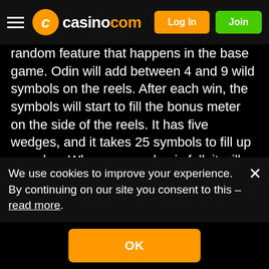casino.com — Log In | Join
random feature that happens in the base game. Odin will add between 4 and 9 wild symbols on the reels. After each win, the symbols will start to fill the bonus meter on the side of the reels. It has five wedges, and it takes 25 symbols to fill up a wedge. When one wedge is full, it will trigger the first bonus feature. However, if the consecutive Rolling Reel will continue, you can continue to fill up additional wedges. To trigger all the bonus features, you will need 125 winning
We use cookies to improve your experience. By continuing on our site you consent to this – read more.
The four features are:
D... A symbol is chosen at random...